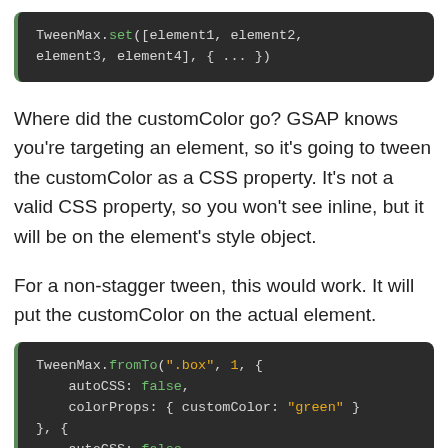[Figure (screenshot): Code block showing: TweenMax.set([element1, element2, element3, element4], { ... })]
Where did the customColor go? GSAP knows you're targeting an element, so it's going to tween the customColor as a CSS property. It's not a valid CSS property, so you won't see inline, but it will be on the element's style object.
For a non-stagger tween, this would work. It will put the customColor on the actual element.
[Figure (screenshot): Code block showing: TweenMax.fromTo(".box", 1, { autoCSS: false, colorProps: { customColor: "green" } }, { autoCSS: false,]